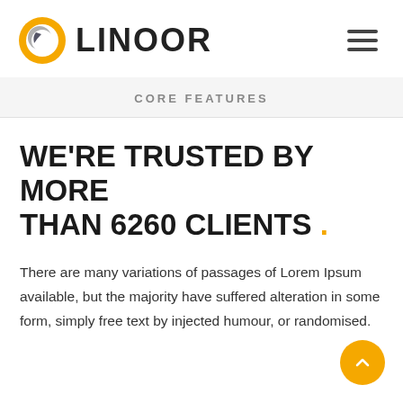[Figure (logo): LINOOR company logo with orange/grey circular icon and bold dark text]
CORE FEATURES
WE'RE TRUSTED BY MORE THAN 6260 CLIENTS .
There are many variations of passages of Lorem Ipsum available, but the majority have suffered alteration in some form, simply free text by injected humour, or randomised.